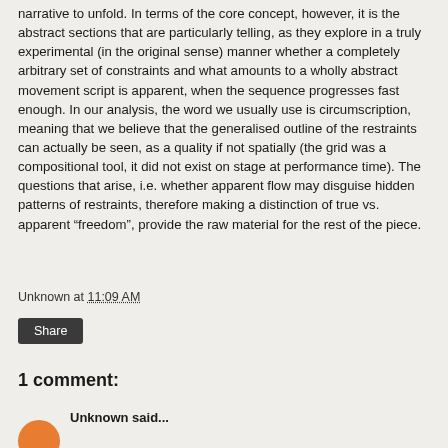narrative to unfold. In terms of the core concept, however, it is the abstract sections that are particularly telling, as they explore in a truly experimental (in the original sense) manner whether a completely arbitrary set of constraints and what amounts to a wholly abstract movement script is apparent, when the sequence progresses fast enough. In our analysis, the word we usually use is circumscription, meaning that we believe that the generalised outline of the restraints can actually be seen, as a quality if not spatially (the grid was a compositional tool, it did not exist on stage at performance time). The questions that arise, i.e. whether apparent flow may disguise hidden patterns of restraints, therefore making a distinction of true vs. apparent “freedom”, provide the raw material for the rest of the piece.
Unknown at 11:09 AM
Share
1 comment:
Unknown said...